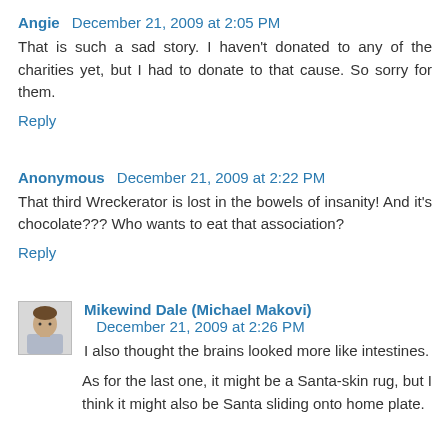Angie  December 21, 2009 at 2:05 PM
That is such a sad story. I haven't donated to any of the charities yet, but I had to donate to that cause. So sorry for them.
Reply
Anonymous  December 21, 2009 at 2:22 PM
That third Wreckerator is lost in the bowels of insanity! And it's chocolate??? Who wants to eat that association?
Reply
Mikewind Dale (Michael Makovi)  December 21, 2009 at 2:26 PM
I also thought the brains looked more like intestines.
As for the last one, it might be a Santa-skin rug, but I think it might also be Santa sliding onto home plate.
Reply